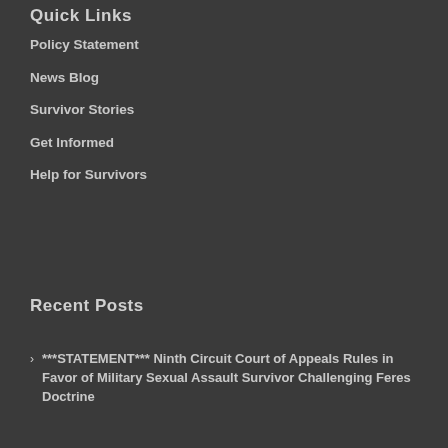Quick Links
Policy Statement
News Blog
Survivor Stories
Get Informed
Help for Survivors
Recent Posts
***STATEMENT*** Ninth Circuit Court of Appeals Rules in Favor of Military Sexual Assault Survivor Challenging Feres Doctrine